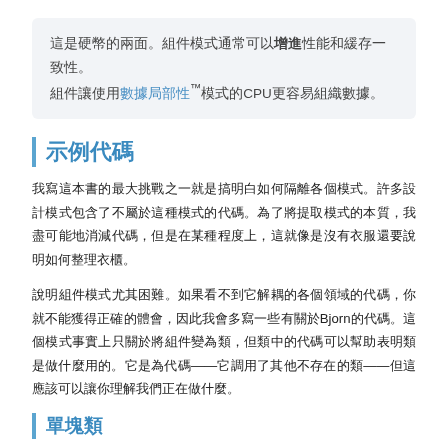這是硬幣的兩面。組件模式通常可以增進性能和緩存一致性。組件讓使用數據局部性™模式的CPU更容易組織數據。
示例代碼
我寫這本書的最大挑戰之一就是搞明白如何隔離各個模式。許多設計模式包含了不屬於這種模式的代碼。為了將提取模式的本質，我盡可能地消減代碼，但是在某種程度上，這就像是沒有衣服還要說明如何整理衣櫃。
說明組件模式尤其困難。如果看不到它解耦的各個領域的代碼，你就不能獲得正確的體會，因此我會多寫一些有關於Bjorn的代碼。這個模式事實上只關於將組件變為類，但類中的代碼可以幫助表明類是做什麼用的。它是為代碼——它調用了其他不存在的類——但這應該可以讓你理解我們正在做什麼。
單塊類
為了清晰的看到這個模式是如何應用的，我們先展示一個Bjorn類，它包含了所有我們需要的事物，但是沒有使用這個模式：